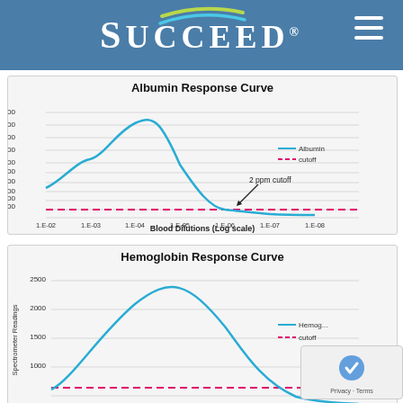[Figure (logo): Succeed brand logo with swoosh graphic on blue header bar with hamburger menu icon]
[Figure (continuous-plot): Line chart showing Albumin response curve peaking around 1800 at 1.E-04 dilution, with a dashed pink cutoff line at ~150. Annotation '2 ppm cutoff' with arrow at ~1.E-06. X-axis: 1.E-02 to 1.E-08 (log scale). Y-axis: 0 to 2000.]
[Figure (continuous-plot): Partial line chart showing Hemoglobin response curve peaking around 2100 at ~1.E-04 dilution, with dashed pink cutoff line. Y-axis visible 1000-2500. Chart is cropped at bottom.]